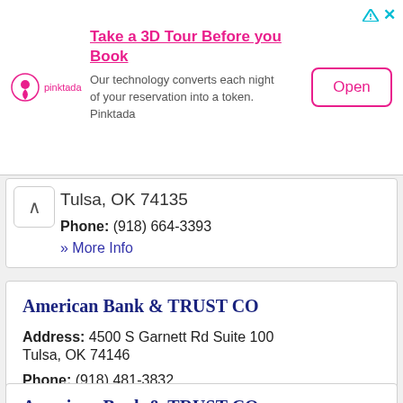[Figure (other): Pinktada advertisement banner: Take a 3D Tour Before you Book. Our technology converts each night of your reservation into a token. Pinktada. Open button.]
Tulsa, OK 74135
Phone: (918) 664-3393
» More Info
American Bank & TRUST CO
Address: 4500 S Garnett Rd Suite 100
Tulsa, OK 74146
Phone: (918) 481-3832
» More Info
American Bank & TRUST CO